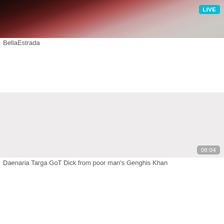[Figure (photo): Thumbnail image of a person with red hair lying on a bed, wearing black clothing. A cyan 'LIVE' badge is in the upper right corner.]
BellaEstrada
[Figure (photo): A light grey/beige thumbnail placeholder image with a duration badge showing '08:04' in the lower right corner.]
Daenaria Targa GoT Dick from poor man's Genghis Khan